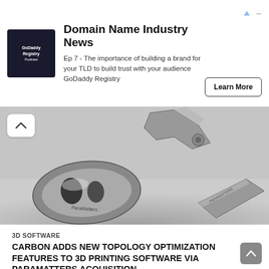[Figure (infographic): GoDaddy Registry Podcast advertisement banner with logo, title 'Domain Name Industry News', episode 7 description, and Learn More button]
[Figure (photo): Black and white photo of metal 3D-printed parts labeled ParaMatters on a light grey surface]
3D SOFTWARE
CARBON ADDS NEW TOPOLOGY OPTIMIZATION FEATURES TO 3D PRINTING SOFTWARE VIA PARAMATTERS ACQUISITION
PAUL HANAPHY – AUGUST 25TH 2022 – 11:57AM